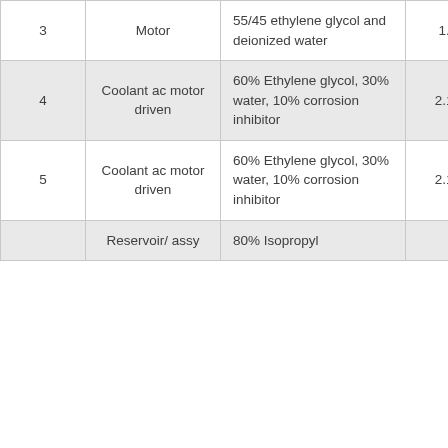| # | Component | Fluid | Volume | Temp |
| --- | --- | --- | --- | --- |
| 3 | Motor | 55/45 ethylene glycol and deionized water | 1.5 | 25 |
| 4 | Coolant ac motor driven | 60% Ethylene glycol, 30% water, 10% corrosion inhibitor | 2.15 | 90 |
| 5 | Coolant ac motor driven | 60% Ethylene glycol, 30% water, 10% corrosion inhibitor | 2.15 | 90 |
|  | Reservoir/ assy | 80% Isopropyl |  |  |